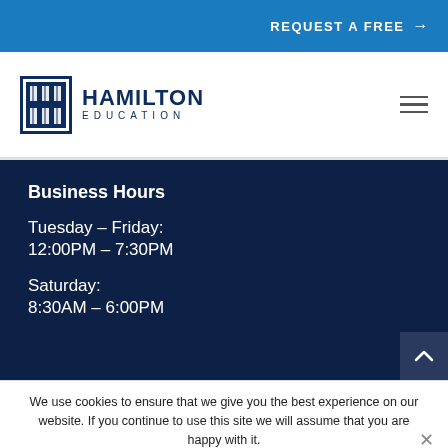REQUEST A FREE →
[Figure (logo): Hamilton Education logo with H icon and text]
Business Hours
Tuesday – Friday:
12:00PM – 7:30PM
Saturday:
8:30AM – 6:00PM
We use cookies to ensure that we give you the best experience on our website. If you continue to use this site we will assume that you are happy with it.